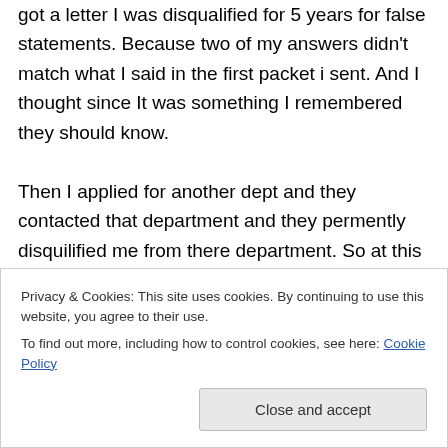got a letter I was disqualified for 5 years for false statements. Because two of my answers didn't match what I said in the first packet i sent. And I thought since It was something I remembered they should know. Then I applied for another dept and they contacted that department and they permently disquilified me from there department. So at this point I am scared to apply anywhere else. Would anybody on here be able to tell me is every police department gonna DQ me because of that
Privacy & Cookies: This site uses cookies. By continuing to use this website, you agree to their use. To find out more, including how to control cookies, see here: Cookie Policy